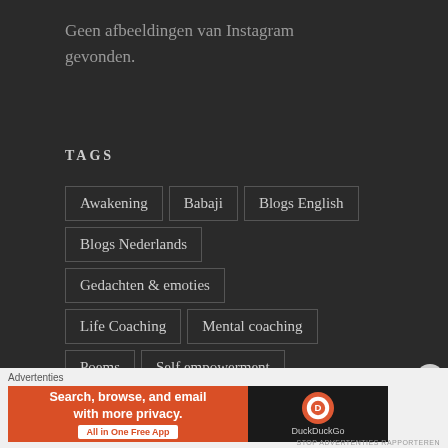Geen afbeeldingen van Instagram gevonden.
TAGS
Awakening
Babaji
Blogs English
Blogs Nederlands
Gedachten & emoties
Life Coaching
Mental coaching
Poems
Self empowerment
Advertenties
[Figure (screenshot): DuckDuckGo advertisement banner: 'Search, browse, and email with more privacy. All in One Free App' on orange background with DuckDuckGo logo on dark background]